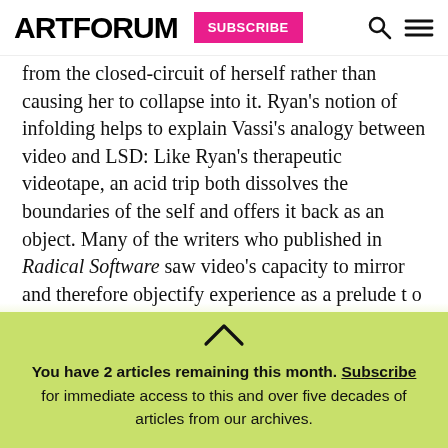ARTFORUM  SUBSCRIBE
from the closed-circuit of herself rather than causing her to collapse into it. Ryan’s notion of infolding helps to explain Vassi’s analogy between video and LSD: Like Ryan’s therapeutic videotape, an acid trip both dissolves the boundaries of the self and offers it back as an object. Many of the writers who published in Radical Software saw video’s capacity to mirror and therefore objectify experience as a prelude t o political action. Community video was
You have 2 articles remaining this month. Subscribe for immediate access to this and over five decades of articles from our archives.